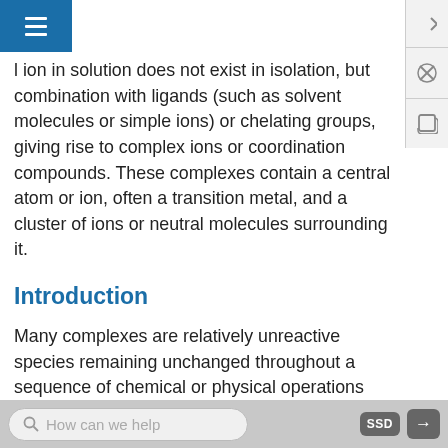[navigation bar with hamburger menu and right-side icons]
l ion in solution does not exist in isolation, but combination with ligands (such as solvent molecules or simple ions) or chelating groups, giving rise to complex ions or coordination compounds. These complexes contain a central atom or ion, often a transition metal, and a cluster of ions or neutral molecules surrounding it.
Introduction
Many complexes are relatively unreactive species remaining unchanged throughout a sequence of chemical or physical operations and can often be isolated as stable solids or liquid compounds. Other complexes have a much more transient existence and
How can we help